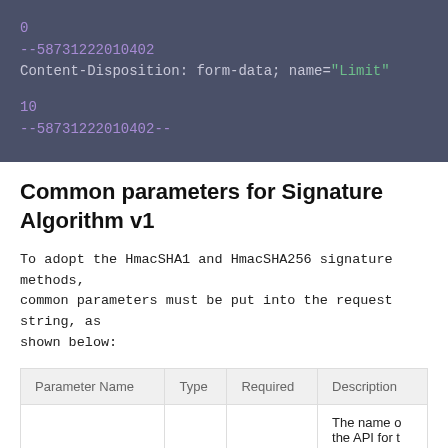[Figure (screenshot): Code block showing multipart form-data with boundary --58731222010402, containing a field named 'Limit' with value 0, followed by the closing boundary --58731222010402--]
Common parameters for Signature Algorithm v1
To adopt the HmacSHA1 and HmacSHA256 signature methods, common parameters must be put into the request string, as shown below:
| Parameter Name | Type | Required | Description |
| --- | --- | --- | --- |
|  |  |  | The name o the API for t |